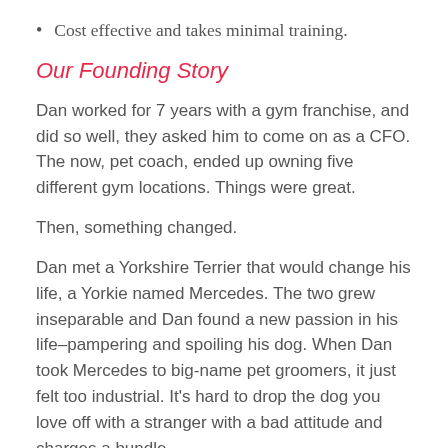Cost effective and takes minimal training.
Our Founding Story
Dan worked for 7 years with a gym franchise, and did so well, they asked him to come on as a CFO. The now, pet coach, ended up owning five different gym locations. Things were great.
Then, something changed.
Dan met a Yorkshire Terrier that would change his life, a Yorkie named Mercedes. The two grew inseparable and Dan found a new passion in his life–pampering and spoiling his dog. When Dan took Mercedes to big-name pet groomers, it just felt too industrial. It's hard to drop the dog you love off with a stranger with a bad attitude and charges a bundle.